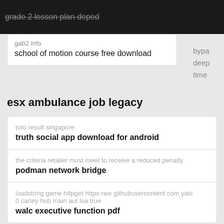grade 2 lesson plan deped
gab2 info
school of motion course free download
bypa
deep
time
esx ambulance job legacy
toto result singapore
truth social app download for android
the criteria retailer must meet to receive a reduced penalty
podman network bridge
loadstring game httpget https raw githubusercontent com yaki 0 carley hub main aut lua true
walc executive function pdf